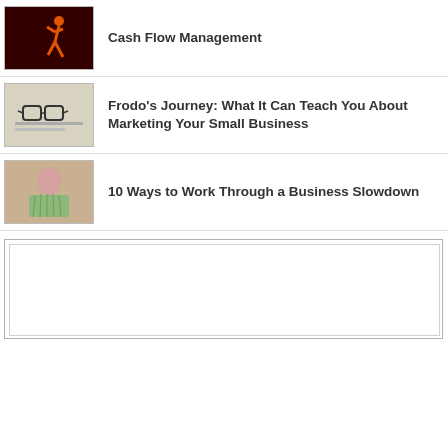[Figure (photo): Red/dark background image with an orange running figure silhouette]
Cash Flow Management
[Figure (photo): Photo of eyeglasses and financial documents on a desk]
Frodo's Journey: What It Can Teach You About Marketing Your Small Business
[Figure (photo): Photo of a woman holding a fan of dollar bills in front of her face]
10 Ways to Work Through a Business Slowdown
[Figure (other): Large blank white advertisement box with grey border]